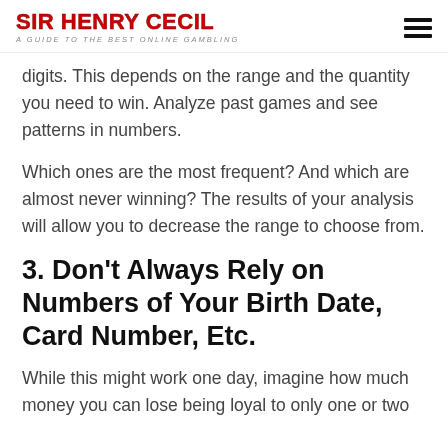SIR HENRY CECIL | A GUIDE TO THE BEST ONLINE GAMBLING
digits. This depends on the range and the quantity you need to win. Analyze past games and see patterns in numbers.
Which ones are the most frequent? And which are almost never winning? The results of your analysis will allow you to decrease the range to choose from.
3. Don't Always Rely on Numbers of Your Birth Date, Card Number, Etc.
While this might work one day, imagine how much money you can lose being loyal to only one or two